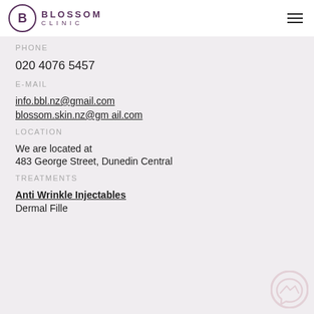Blossom Clinic
PHONE
020 4076 5457
E-MAIL
info.bbl.nz@gmail.com
blossom.skin.nz@gm ail.com
LOCATION
We are located at
483 George Street, Dunedin Central
TREATMENTS
Anti Wrinkle Injectables
Dermal Fille...